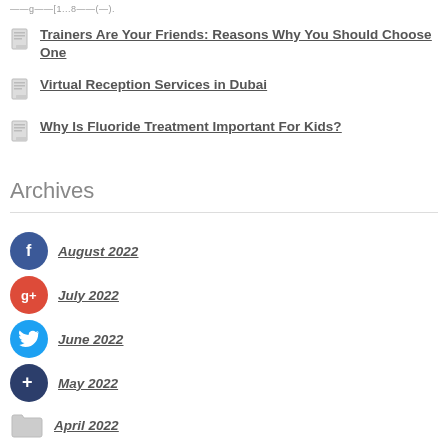——g——[1...8——(—).
Trainers Are Your Friends: Reasons Why You Should Choose One
Virtual Reception Services in Dubai
Why Is Fluoride Treatment Important For Kids?
Archives
August 2022
July 2022
June 2022
May 2022
April 2022
March 2022